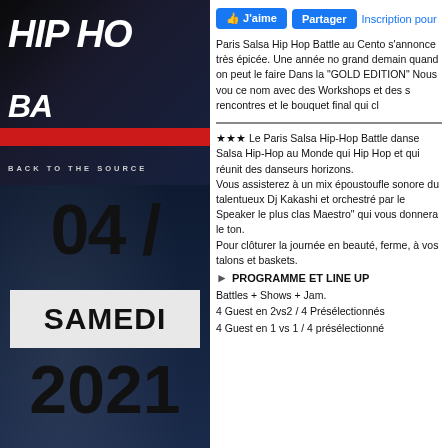[Figure (photo): Event poster for Paris Salsa Hip Hop Battle – Back to the Source, dark background with bold white italic text 'HIP HO' and 'BA', red horizontal bar, subtitle 'BACK TO THE SOURCE']
04 /
SAMEDI
2021
[Figure (other): Social media buttons: J'aime (Facebook Like), Partager (Share), Inscription pour]
Paris Salsa Hip Hop Battle au Cento s'annonce très épicée. Une année no grand demain quand on peut le faire Dans la "GOLD EDITION" Nous vou ce nom avec des Workshops et des s rencontres et le bouquet final qui cl
★★★ Le Paris Salsa Hip-Hop Battle danse Salsa Hip-Hop au Monde qui Hip Hop et qui réunit des danseurs horizons.
Vous assisterez à un mix époustoufle sonore du talentueux Dj Kakashi et orchestré par le Speaker le plus clas Maestro" qui vous donnera le ton.
Pour clôturer la journée en beauté, ferme, à vos talons et baskets.
▶ PROGRAMME ET LINE UP
Battles + Shows + Jam.
4 Guest en 2vs2 / 4 Présélectionnés
4 Guest en 1 vs 1 / 4 présélectionné